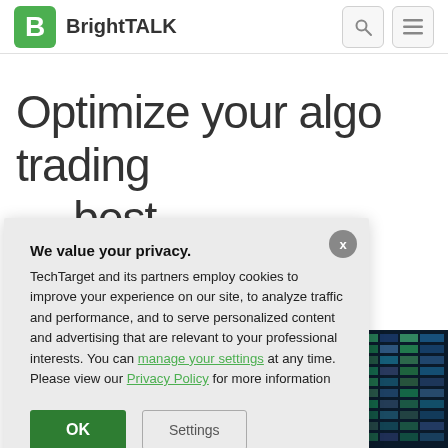BrightTALK
Optimize your algo trading … best
We value your privacy.
TechTarget and its partners employ cookies to improve your experience on our site, to analyze traffic and performance, and to serve personalized content and advertising that are relevant to your professional interests. You can manage your settings at any time. Please view our Privacy Policy for more information
[Figure (screenshot): Dark trading screen showing colorful data grid in bottom right corner]